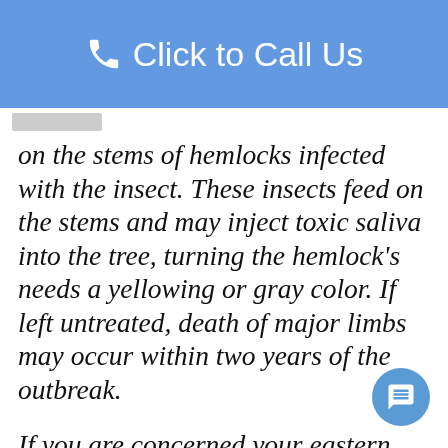Click to Call Us
on the stems of hemlocks infected with the insect. These insects feed on the stems and may inject toxic saliva into the tree, turning the hemlock's needs a yellowing or gray color. If left untreated, death of major limbs may occur within two years of the outbreak.
If you are concerned your eastern Hemlock tree may be facing an insect infestation, call or text Eric for your free tree removal or tree service